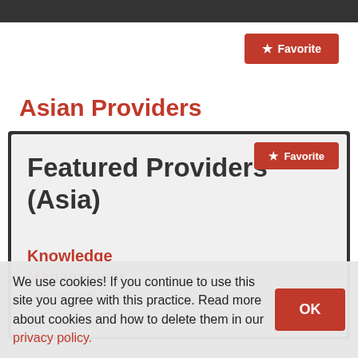[Figure (screenshot): Red Favorite button with star icon in top right]
Asian Providers
[Figure (screenshot): Card showing Featured Providers (Asia) with a red Favorite button, Knowledge Management section header in red, Society of Korea label partially visible, and cookie consent overlay at the bottom with OK button]
We use cookies! If you continue to use this site you agree with this practice. Read more about cookies and how to delete them in our privacy policy.